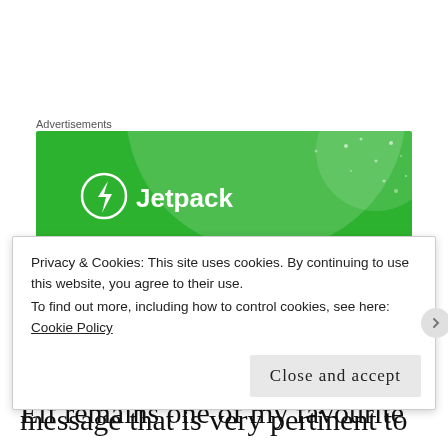Advertisements
[Figure (illustration): Jetpack advertisement banner with green background, circular design elements, white dots, and Jetpack logo with lightning bolt icon]
Overall Elf is exactly what a Christmas movie should be. It’s funny, it has heart, and it has a message that is very pertinent to this time of year. For these reasons Elf remains one of my favourite Christmas movies.
Privacy & Cookies: This site uses cookies. By continuing to use this website, you agree to their use.
To find out more, including how to control cookies, see here: Cookie Policy
Close and accept